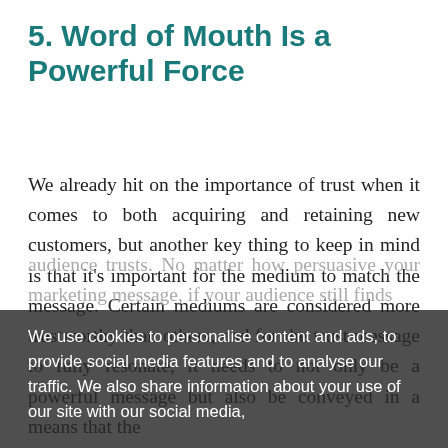5. Word of Mouth Is a Powerful Force
We already hit on the importance of trust when it comes to both acquiring and retaining new customers, but another key thing to keep in mind is that it’s important for the medium to match the message. Certain mediums are considered more trustworthy than others, and for the trust message to fully resonate, it needs to not only be a powerful message but also be conveyed in a means that the audience trusts. No matter how persuasive your marketing message, if your audience still finds
We use cookies to personalise content and ads, to provide social media features and to analyse our traffic. We also share information about your use of our site with our social media,